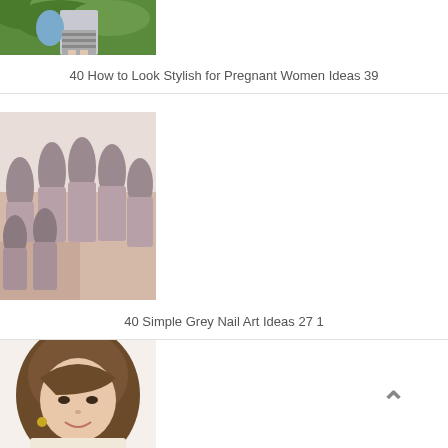[Figure (photo): Partial view of a pregnant woman in a striped skirt and blue top standing near green bushes]
40 How to Look Stylish for Pregnant Women Ideas 39
[Figure (photo): Close-up of hands with long mauve/grey almond-shaped nails]
40 Simple Grey Nail Art Ideas 27 1
[Figure (photo): Woman with a short brown bob hairstyle smiling, wearing a cream top and gold earrings]